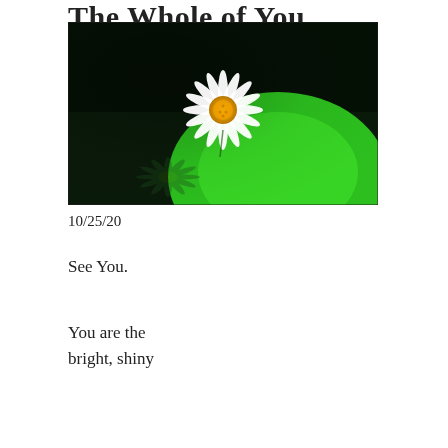The Whole of You
[Figure (photo): A white daisy with a yellow center floating on green water, with its reflection visible below. Dark green background with bright green light in lower right.]
10/25/20
See You.
You are the
bright, shiny